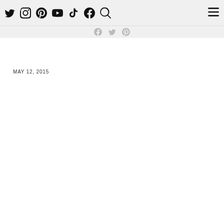Twitter Instagram Pinterest YouTube TikTok Facebook Search [hamburger menu]
MAY 12, 2015